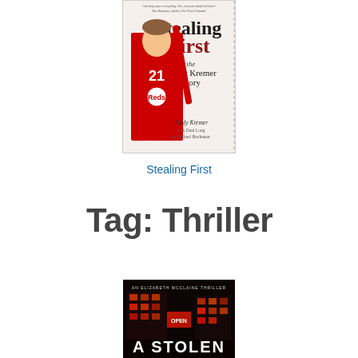[Figure (photo): Book cover of 'Stealing First: the Teddy Kremer Story' by Teddy Kremer with Dani Long & Michael Buchanan. Shows a person in a Cincinnati Reds baseball uniform (#21) holding a bat, with the title in large text.]
Stealing First
Tag: Thriller
[Figure (photo): Book cover of 'A Stolen...' (An Elizabeth McClaine Thriller). Dark cover showing a building lit in red/orange at night with 'A STOLEN' text visible at the bottom.]